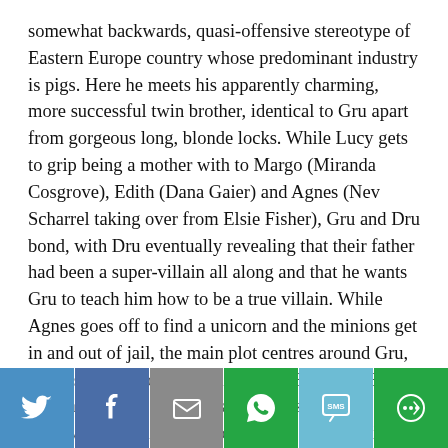somewhat backwards, quasi-offensive stereotype of Eastern Europe country whose predominant industry is pigs. Here he meets his apparently charming, more successful twin brother, identical to Gru apart from gorgeous long, blonde locks. While Lucy gets to grip being a mother with to Margo (Miranda Cosgrove), Edith (Dana Gaier) and Agnes (Nev Scharrel taking over from Elsie Fisher), Gru and Dru bond, with Dru eventually revealing that their father had been a super-villain all along and that he wants Gru to teach him how to be a true villain. While Agnes goes off to find a unicorn and the minions get in and out of jail, the main plot centres around Gru, who uses his brother to track down Balthazar Bratt to steal back the diamond and get his job back at the Anti-Villain League. But, of course, not everything goes to plan when Bratt's beset on his evil plan for revenge.
[Figure (infographic): Social share bar with icons for Twitter, Facebook, Email, WhatsApp, SMS, and More (share) buttons in blue, dark blue, grey, green, light blue, and green colors respectively.]